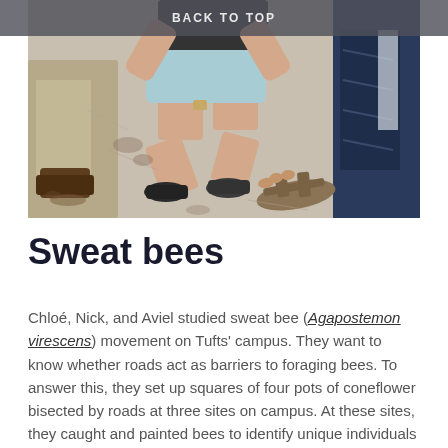BACK TO TOP
[Figure (photo): Overhead view of people kneeling on a concrete surface; one person in light blue shorts and black sneakers is crouching down, another in khaki pants and brown boots is on the left, and a sandal is visible on the right.]
Sweat bees
Chloé, Nick, and Aviel studied sweat bee (Agapostemon virescens) movement on Tufts' campus. They want to know whether roads act as barriers to foraging bees. To answer this, they set up squares of four pots of coneflower bisected by roads at three sites on campus. At these sites, they caught and painted bees to identify unique individuals and recorded ongoing traffic